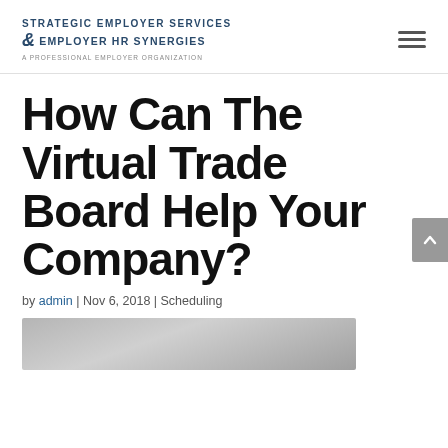Strategic Employer Services & Employer HR Synergies — A Professional Employer Organization
How Can The Virtual Trade Board Help Your Company?
by admin | Nov 6, 2018 | Scheduling
[Figure (photo): Photo of a conference room table with devices, partially visible at bottom of page]